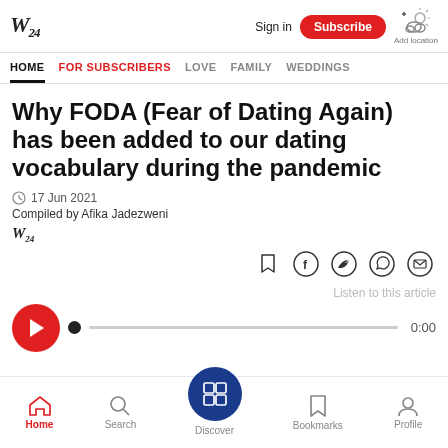W24 | Sign in | Subscribe | Add location
HOME | FOR SUBSCRIBERS | LOVE | FAMILY | WEDDINGS
Why FODA (Fear of Dating Again) has been added to our dating vocabulary during the pandemic
17 Jun 2021
Compiled by Afika Jadezweni
[Figure (other): Social sharing icons: bookmark, Facebook, Twitter, WhatsApp, Email]
[Figure (other): Audio player: play button, progress bar, 0:00 time, Listen to this article label]
Home | Search | Discover | Bookmarks | Profile